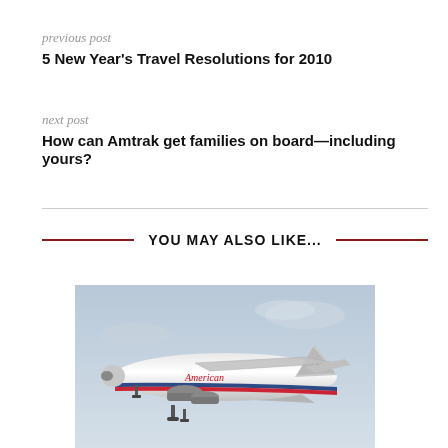previous post
5 New Year's Travel Resolutions for 2010
next post
How can Amtrak get families on board—including yours?
YOU MAY ALSO LIKE...
[Figure (photo): American Airlines Boeing 767 aircraft in flight against a grey sky, with the classic silver, red, and blue livery and AA tail logo.]